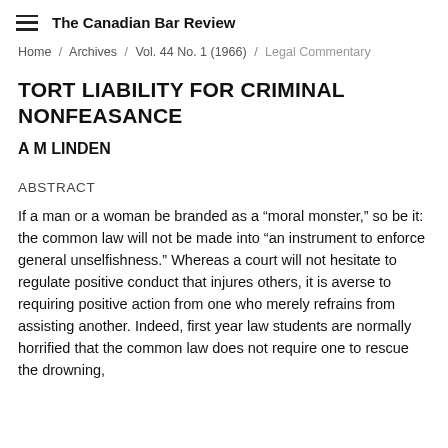The Canadian Bar Review
Home / Archives / Vol. 44 No. 1 (1966) / Legal Commentary
TORT LIABILITY FOR CRIMINAL NONFEASANCE
A M LINDEN
ABSTRACT
If a man or a woman be branded as a “moral monster,” so be it: the common law will not be made into “an instrument to enforce general unselfishness.” Whereas a court will not hesitate to regulate positive conduct that injures others, it is averse to requiring positive action from one who merely refrains from assisting another. Indeed, first year law students are normally horrified that the common law does not require one to rescue the drowning,